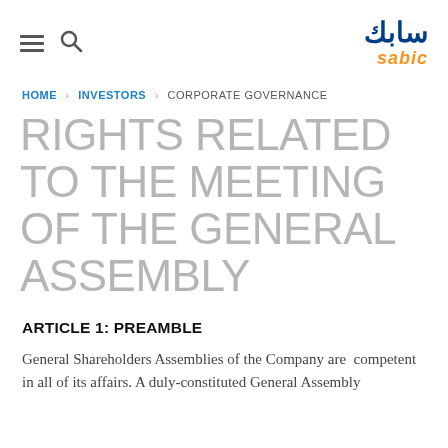SABIC logo with Arabic and English text
HOME > INVESTORS > CORPORATE GOVERNANCE
RIGHTS RELATED TO THE MEETING OF THE GENERAL ASSEMBLY
ARTICLE 1: PREAMBLE
General Shareholders Assemblies of the Company are  competent in all of its affairs. A duly-constituted General Assembly